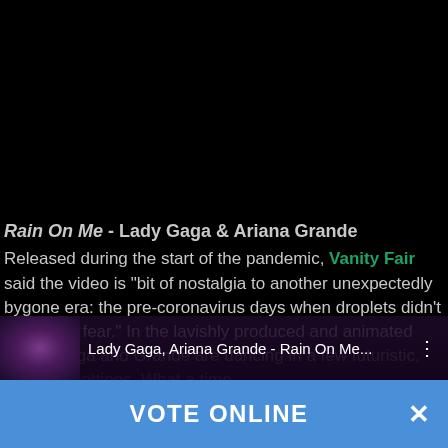[Figure (screenshot): Black background area representing top of a dark webpage or video player]
Rain On Me - Lady Gaga & Ariana Grande
Released during the start of the pandemic, Vanity Fair said the video is "bit of nostalgia to another unexpectedly bygone era: the pre-coronavirus days when droplets didn't fill us with fear." In the lavishly produced and animated video, Gaga and Grande are dancing in a few futuristic, rave-like settings. What a time...
[Figure (screenshot): Video player bar showing thumbnail of Lady Gaga and Ariana Grande with video title Lady Gaga, Ariana Grande - Rain On Me... and three-dot menu icon]
VOTE ONLINE